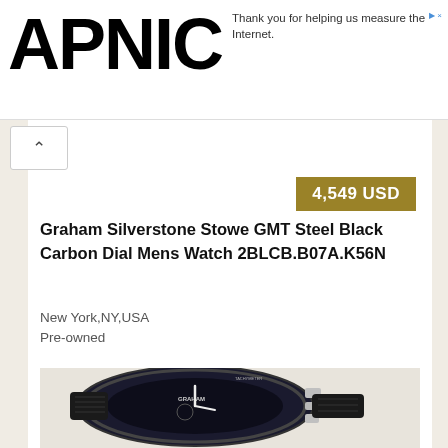APNIC
Thank you for helping us measure the Internet.
4,549 USD
Graham Silverstone Stowe GMT Steel Black Carbon Dial Mens Watch 2BLCB.B07A.K56N
New York,NY,USA
Pre-owned
[Figure (photo): Graham Silverstone watch with black carbon dial, steel case, visible movement skeleton, tachymeter bezel, and black rubber strap]